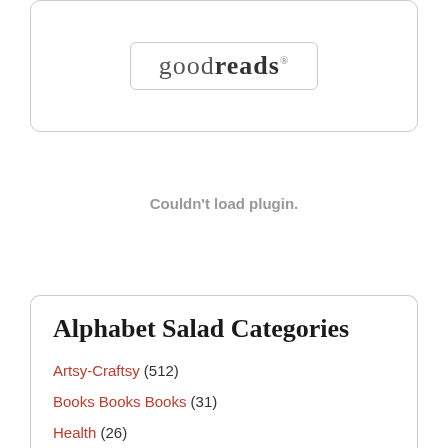[Figure (logo): Goodreads logo inside a rounded rectangle box with border]
Couldn't load plugin.
Alphabet Salad Categories
Artsy-Craftsy (512)
Books Books Books (31)
Health (26)